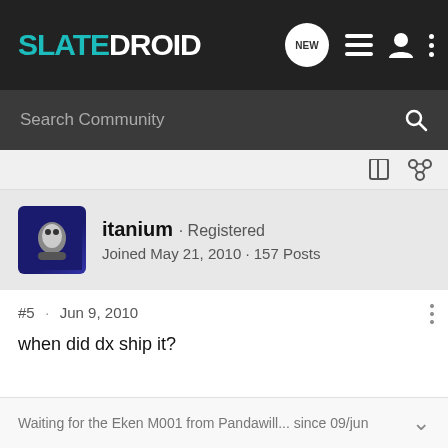SLATEDROID
Search Community
itanium · Registered
Joined May 21, 2010 · 157 Posts
#5 · Jun 9, 2010
when did dx ship it?
Waiting for the Eken M001 from Pandawill... since 09/jun